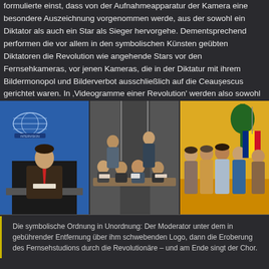formulierte einst, dass von der Aufnahmeapparatur der Kamera eine besondere Auszeichnung vorgenommen werde, aus der sowohl ein Diktator als auch ein Star als Sieger hervorgehe. Dementsprechend performen die vor allem in den symbolischen Künsten geübten Diktatoren die Revolution wie angehende Stars vor den Fernsehkameras, vor jenen Kameras, die in der Diktatur mit ihrem Bildermonopol und Bilderverbot ausschließlich auf die Ceaușescus gerichtet waren. In 'Videogramme einer Revolution' werden also sowohl die Bedingungen der Mediendemokratie sichtbar, in der die politischen Handlungsspielräume stark von den Medien bestimmt werden, als auch der historisch weiter zurückreichende Zusammenhang von Theatralität und Demokratie.
[Figure (photo): Three stills from Romanian television footage: left panel shows a news anchor standing at a desk with an Intervision globe logo on blue background; center panel shows a group of men seated and standing at a table, apparently revolutionaries in the TV studio; right panel shows a group of people including women standing together, one holding a Romanian flag.]
Die symbolische Ordnung in Unordnung: Der Moderator unter dem in gebührender Entfernung über ihm schwebenden Logo, dann die Eroberung des Fernsehstudions durch die Revolutionäre – und am Ende singt der Chor.